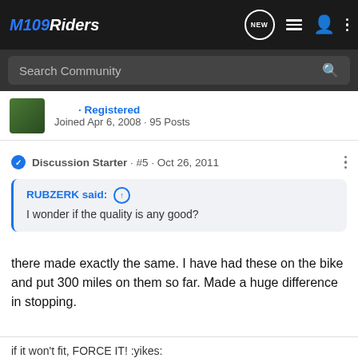M109RIDERS
Search Community
Joined Apr 6, 2008 · 95 Posts
Discussion Starter · #5 · Oct 26, 2011
RUBZERK said: ↑
I wonder if the quality is any good?
there made exactly the same. I have had these on the bike and put 300 miles on them so far. Made a huge difference in stopping.
if it won't fit, FORCE IT! :yikes: